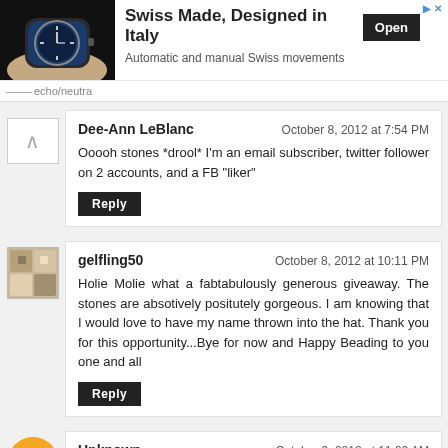[Figure (screenshot): Ad banner: watch image on left, 'Swiss Made, Designed in Italy' title, 'Automatic and manual Swiss movements' subtitle, Open button, echo/neutra label]
Dee-Ann LeBlanc   October 8, 2012 at 7:54 PM
Ooooh stones *drool* I'm an email subscriber, twitter follower on 2 accounts, and a FB "liker"
gelfling50   October 8, 2012 at 10:11 PM
Holie Molie what a fabtabulously generous giveaway. The stones are absotively positutely gorgeous. I am knowing that I would love to have my name thrown into the hat. Thank you for this opportunity...Bye for now and Happy Beading to you one and all
Unknown   October 9, 2012 at 11:09 AM